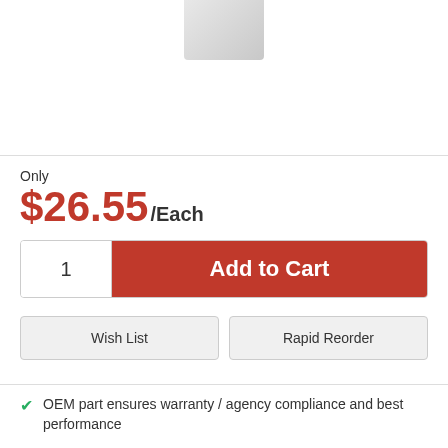[Figure (photo): Product photo of a metal hardware part, partially shown at top of page]
Only
$26.55/Each
1  Add to Cart
Wish List
Rapid Reorder
OEM part ensures warranty / agency compliance and best performance
UPC Code:  400014407114